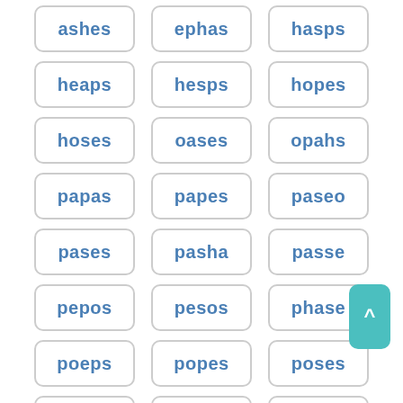ashes
ephas
hasps
heaps
hesps
hopes
hoses
oases
opahs
papas
papes
paseo
pases
pasha
passe
pepos
pesos
phase
poeps
popes
poses
posse
psoae
psoas